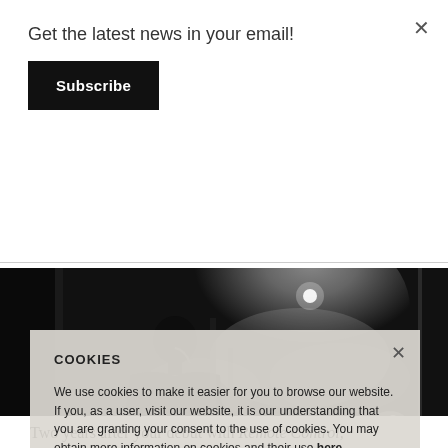Get the latest news in your email!
Subscribe
[Figure (photo): Black and white photograph of a person (DJ or performer) silhouetted against dramatic stage lighting with smoke/haze in the background]
COOKIES
We use cookies to make it easier for you to browse our website. If you, as a user, visit our website, it is our understanding that you are granting your consent to the use of cookies. You may obtain more information on cookies and their use here
OK
Two years after your debut with Remote Control,